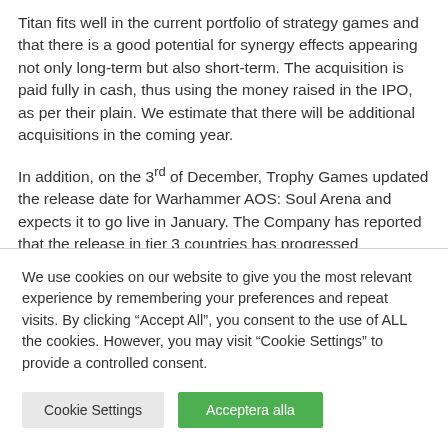Titan fits well in the current portfolio of strategy games and that there is a good potential for synergy effects appearing not only long-term but also short-term. The acquisition is paid fully in cash, thus using the money raised in the IPO, as per their plain. We estimate that there will be additional acquisitions in the coming year.
In addition, on the 3rd of December, Trophy Games updated the release date for Warhammer AOS: Soul Arena and expects it to go live in January. The Company has reported that the release in tier 3 countries has progressed
We use cookies on our website to give you the most relevant experience by remembering your preferences and repeat visits. By clicking "Accept All", you consent to the use of ALL the cookies. However, you may visit "Cookie Settings" to provide a controlled consent.